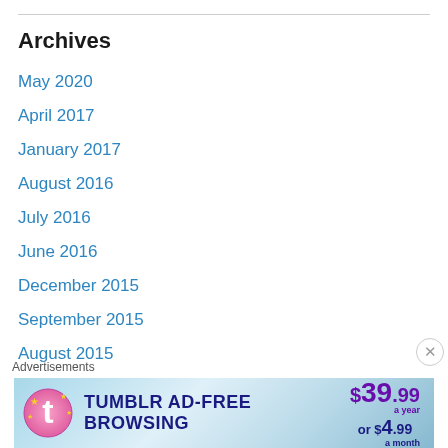Archives
May 2020
April 2017
January 2017
August 2016
July 2016
June 2016
December 2015
September 2015
August 2015
July 2015
March 2015
February 2015
January 2015
[Figure (other): Tumblr Ad-Free Browsing advertisement banner showing $39.99 a year or $4.99 a month pricing]